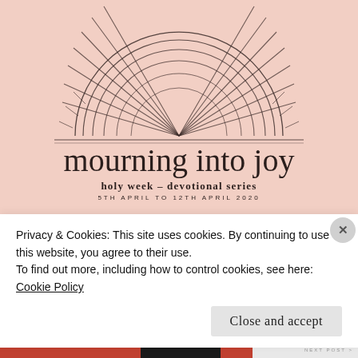[Figure (illustration): Book cover with salmon/peach background, decorative sun/sunrise illustration with radiating lines at top, cursive script title 'mourning into joy', subtitle 'holy week - devotional series', dates '5TH APRIL TO 12TH APRIL 2020', author 'MATHEUS YUHLUNG']
Privacy & Cookies: This site uses cookies. By continuing to use this website, you agree to their use.
To find out more, including how to control cookies, see here: Cookie Policy
Close and accept